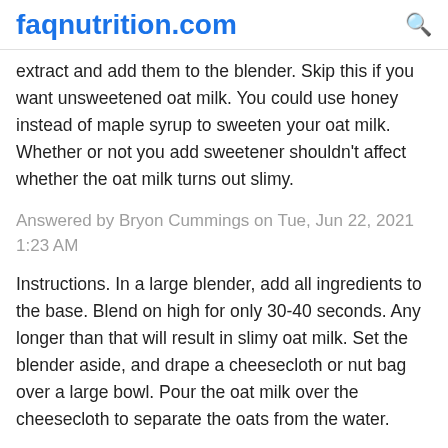faqnutrition.com
extract and add them to the blender. Skip this if you want unsweetened oat milk. You could use honey instead of maple syrup to sweeten your oat milk. Whether or not you add sweetener shouldn't affect whether the oat milk turns out slimy.
Answered by Bryon Cummings on Tue, Jun 22, 2021 1:23 AM
Instructions. In a large blender, add all ingredients to the base. Blend on high for only 30-40 seconds. Any longer than that will result in slimy oat milk. Set the blender aside, and drape a cheesecloth or nut bag over a large bowl. Pour the oat milk over the cheesecloth to separate the oats from the water.
Answered by Krystina Ullrich on Tue, Jun 22, 2021